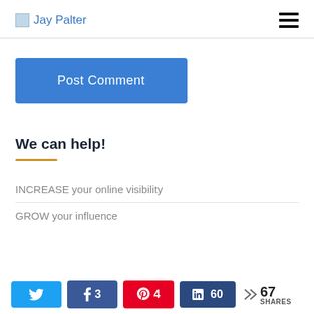Jay Palter
[Figure (screenshot): Post Comment button - blue rounded rectangle with white text]
We can help!
INCREASE your online visibility
GROW your influence
[Figure (infographic): Social share bar with Twitter, Facebook (3), Pinterest (4), LinkedIn (60) buttons and 67 SHARES total]